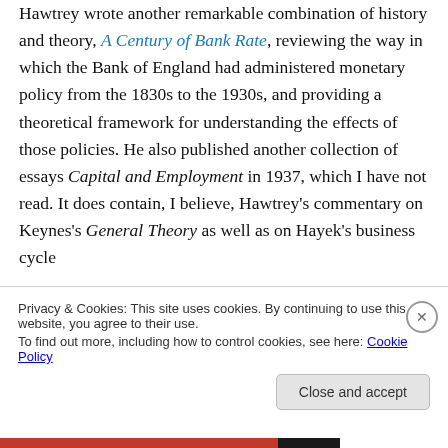Hawtrey wrote another remarkable combination of history and theory, A Century of Bank Rate, reviewing the way in which the Bank of England had administered monetary policy from the 1830s to the 1930s, and providing a theoretical framework for understanding the effects of those policies. He also published another collection of essays Capital and Employment in 1937, which I have not read. It does contain, I believe, Hawtrey's commentary on Keynes's General Theory as well as on Hayek's business cycle
Privacy & Cookies: This site uses cookies. By continuing to use this website, you agree to their use. To find out more, including how to control cookies, see here: Cookie Policy
Close and accept